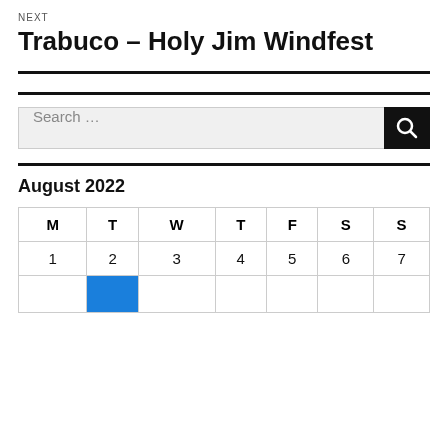NEXT
Trabuco – Holy Jim Windfest
[Figure (other): Search bar with text 'Search ...' and a black search button with magnifying glass icon]
August 2022
| M | T | W | T | F | S | S |
| --- | --- | --- | --- | --- | --- | --- |
| 1 | 2 | 3 | 4 | 5 | 6 | 7 |
|  |  |  |  |  |  |  |